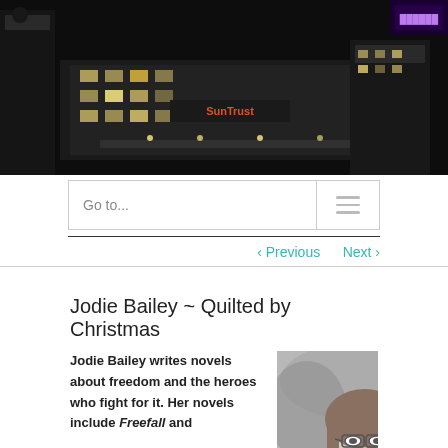[Figure (photo): Aerial night photo of a city building with SunTrust signage lit up]
Go to...
‹ Previous   Next ›
Jodie Bailey ~ Quilted by Christmas
Jodie Bailey writes novels about freedom and the heroes who fight for it. Her novels include Freefall and
[Figure (photo): Black and white portrait photo of a woman with glasses and shoulder-length hair, smiling]